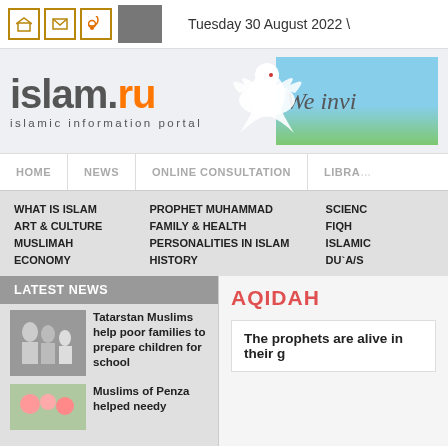Tuesday 30 August 2022
[Figure (logo): islam.ru islamic information portal logo with dove]
[Figure (illustration): We invite banner with sky and grass background]
HOME | NEWS | ONLINE CONSULTATION | LIBRARY
WHAT IS ISLAM
ART & CULTURE
MUSLIMAH
ECONOMY
PROPHET MUHAMMAD
FAMILY & HEALTH
PERSONALITIES IN ISLAM
HISTORY
SCIENCE
FIQH
ISLAMIC
DU`A/S
LATEST NEWS
[Figure (photo): Tatarstan Muslims photo]
Tatarstan Muslims help poor families to prepare children for school
[Figure (photo): Muslims of Penza photo]
Muslims of Penza helped needy
AQIDAH
The prophets are alive in their g